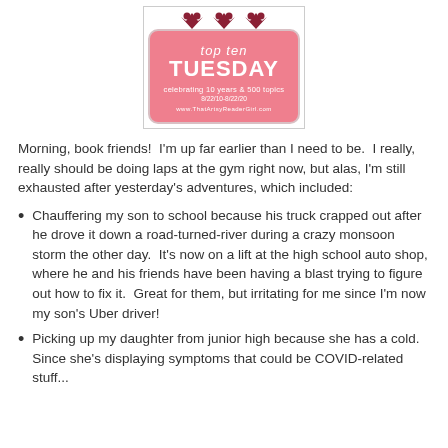[Figure (logo): Top Ten Tuesday badge/logo — pink rounded square with dark red crown hearts at top, text 'top ten TUESDAY celebrating 10 years & 500 topics 8/22/10-8/22/20 www.ThatArtsyReaderGirl.com']
Morning, book friends!  I'm up far earlier than I need to be.  I really, really should be doing laps at the gym right now, but alas, I'm still exhausted after yesterday's adventures, which included:
Chauffering my son to school because his truck crapped out after he drove it down a road-turned-river during a crazy monsoon storm the other day.  It's now on a lift at the high school auto shop, where he and his friends have been having a blast trying to figure out how to fix it.  Great for them, but irritating for me since I'm now my son's Uber driver!
Picking up my daughter from junior high because she has a cold.  Since she's displaying symptoms that could be COVID-related stuff...